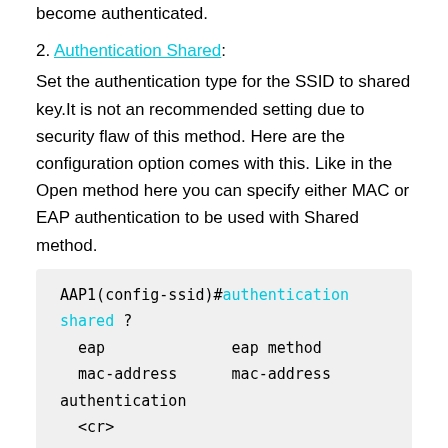become authenticated.
2. Authentication Shared: Set the authentication type for the SSID to shared key.It is not an recommended setting due to security flaw of this method. Here are the configuration option comes with this. Like in the Open method here you can specify either MAC or EAP authentication to be used with Shared method.
AAP1(config-ssid)#authentication shared ?
  eap              eap method
  mac-address      mac-address authentication
  <cr>
3. Authentication Key-management: This sets the authentication type for the SSID to WPA, CCKM or both. If you use optional keyword (eg :